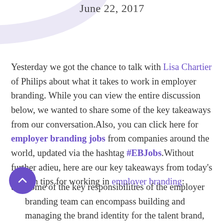June 22, 2017
Yesterday we got the chance to talk with Lisa Chartier of Philips about what it takes to work in employer branding. While you can view the entire discussion below, we wanted to share some of the key takeaways from our conversation.Also, you can click here for employer branding jobs from companies around the world, updated via the hashtag #EBJobs.Without further adieu, here are our key takeaways from today’s chat on tips for working in employer branding:
Some of the key responsibilities of the employer branding team can encompass building and managing the brand identity for the talent brand, developing and executing recruitment marketing campaigns across